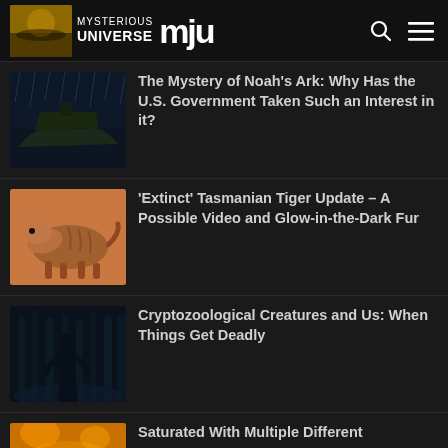Mysterious Universe
The Mystery of Noah's Ark: Why Has the U.S. Government Taken Such an Interest in it?
'Extinct' Tasmanian Tiger Update – A Possible Video and Glow-in-the-Dark Fur
Cryptozoological Creatures and Us: When Things Get Deadly
Saturated With Multiple Different